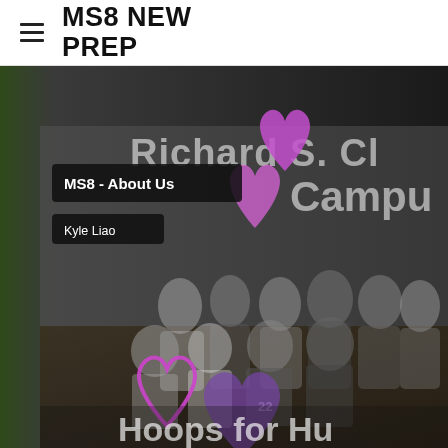MS8 NEW PREP
[Figure (photo): Group photo of people in a gymnasium decorated with purple hearts and a banner reading 'Hoops for Hu...'. Overlaid dark labels show 'MS8 - About Us' and 'Kyle Liao'. Background text reads 'Richard S. Cl... Campus'.]